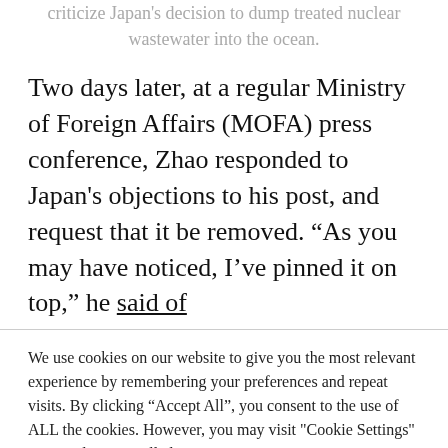criticize Japan's decision to dump treated nuclear wastewater into the ocean.
Two days later, at a regular Ministry of Foreign Affairs (MOFA) press conference, Zhao responded to Japan's objections to his post, and request that it be removed. “As you may have noticed, I’ve pinned it on top,” he said of
We use cookies on our website to give you the most relevant experience by remembering your preferences and repeat visits. By clicking “Accept All”, you consent to the use of ALL the cookies. However, you may visit "Cookie Settings" to provide a controlled consent.